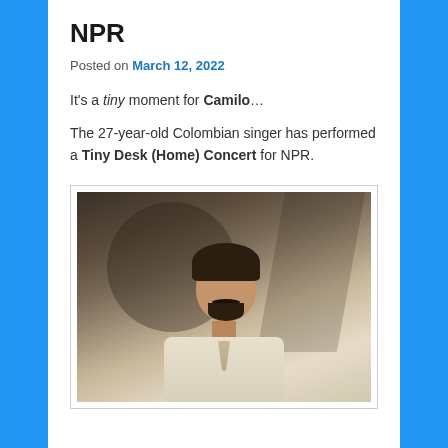NPR
Posted on March 12, 2022
It's a tiny moment for Camilo…
The 27-year-old Colombian singer has performed a Tiny Desk (Home) Concert for NPR.
[Figure (photo): Portrait photo of Camilo, a young Colombian man with dark curly hair styled upward, a mustache and beard, wearing a white loose-fitting shirt, photographed against a blurred light background with shadows.]